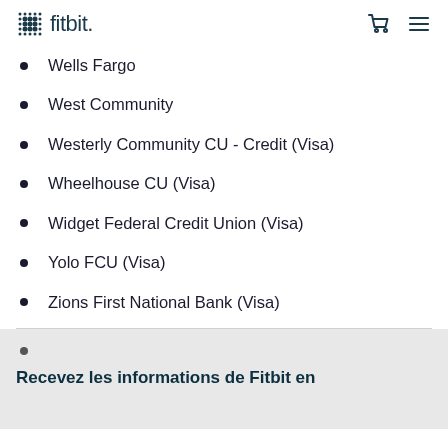fitbit.
Wells Fargo
West Community
Westerly Community CU - Credit (Visa)
Wheelhouse CU (Visa)
Widget Federal Credit Union (Visa)
Yolo FCU (Visa)
Zions First National Bank (Visa)
Recevez les informations de Fitbit en